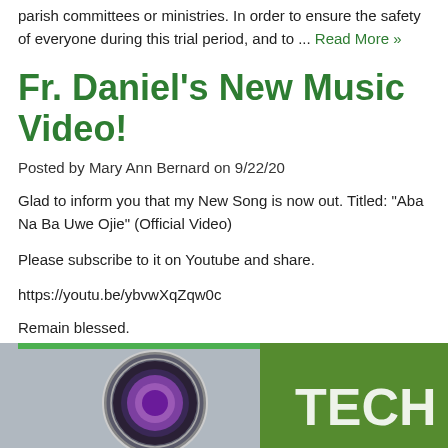parish committees or ministries. In order to ensure the safety of everyone during this trial period, and to ... Read More »
Fr. Daniel's New Music Video!
Posted by Mary Ann Bernard on 9/22/20
Glad to inform you that my New Song is now out. Titled: "Aba Na Ba Uwe Ojie" (Official Video)
Please subscribe to it on Youtube and share.
https://youtu.be/ybvwXqZqw0c
Remain blessed.
FADA DEO.
[Figure (photo): A camera lens close-up with a green banner showing partial text 'TECH']